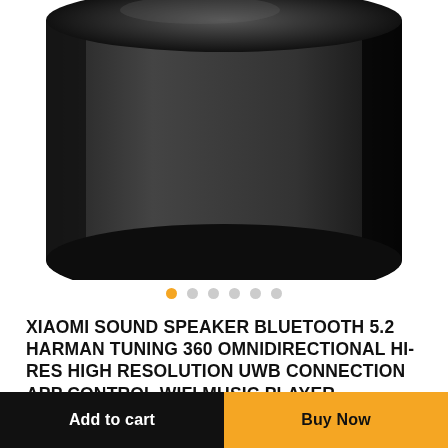[Figure (photo): Bottom portion of a black cylindrical Xiaomi smart speaker on white background]
XIAOMI SOUND SPEAKER BLUETOOTH 5.2 HARMAN TUNING 360 OMNIDIRECTIONAL HI-RES HIGH RESOLUTION UWB CONNECTION APP CONTROL WIFI MUSIC PLAYER SUBWOOFER
Brand: Xiaomi
AED 899.00
Add to cart
Buy Now